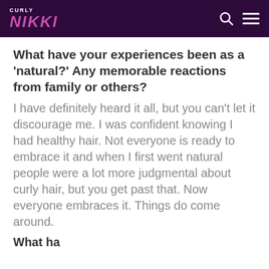CURLY NIKKI
What have your experiences been as a 'natural?' Any memorable reactions from family or others?
I have definitely heard it all, but you can't let it discourage me. I was confident knowing I had healthy hair. Not everyone is ready to embrace it and when I first went natural people were a lot more judgmental about curly hair, but you get past that. Now everyone embraces it. Things do come around.